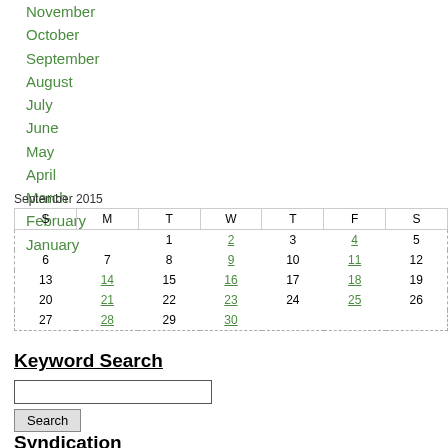November
October
September
August
July
June
May
April
March
February
January
| S | M | T | W | T | F | S |
| --- | --- | --- | --- | --- | --- | --- |
|  |  | 1 | 2 | 3 | 4 | 5 |
| 6 | 7 | 8 | 9 | 10 | 11 | 12 |
| 13 | 14 | 15 | 16 | 17 | 18 | 19 |
| 20 | 21 | 22 | 23 | 24 | 25 | 26 |
| 27 | 28 | 29 | 30 |  |  |  |
Keyword Search
Syndication